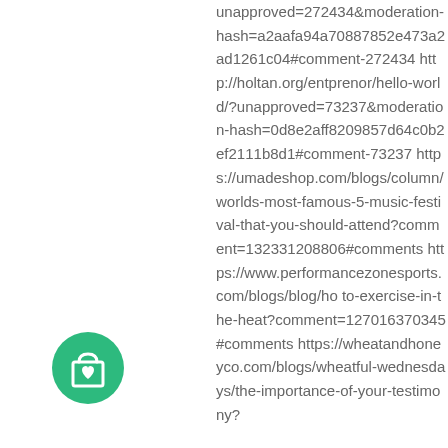unapproved=272434&moderation-hash=a2aafa94a70887852e473a2ad1261c04#comment-272434 http://holtan.org/entprenor/hello-world/?unapproved=73237&moderation-hash=0d8e2aff8209857d64c0b2ef2111b8d1#comment-73237 https://umadeshop.com/blogs/column/worlds-most-famous-5-music-festival-that-you-should-attend?comment=132331208806#comments https://www.performancezonesports.com/blogs/blog/how-to-exercise-in-the-heat?comment=127016370345#comments https://wheatandhoneyco.com/blogs/wheatful-wednesdays/the-importance-of-your-testimony?
[Figure (illustration): Green circle with a shopping bag icon (cart with heart)]